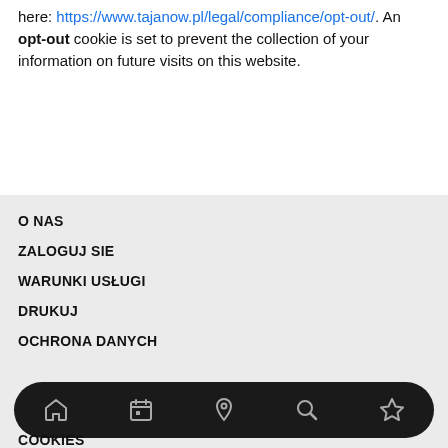here: https://www.tajanow.pl/legal/compliance/opt-out/. An opt-out cookie is set to prevent the collection of your information on future visits on this website.
O NAS
ZALOGUJ SIE
WARUNKI USŁUGI
DRUKUJ
OCHRONA DANYCH
[Figure (infographic): Mobile navigation bar with icons: home, calendar, location pin, search, star/bookmark]
COOKIES